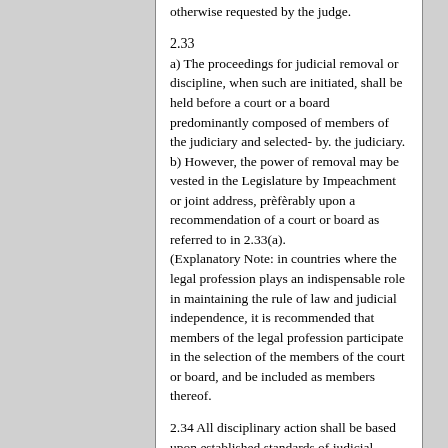otherwise requested by the judge.
2.33
a) The proceedings for judicial removal or discipline, when such are initiated, shall be held before a court or a board predominantly composed of members of the judiciary and selected- by. the judiciary.
b) However, the power of removal may be vested in the Legislature by Impeachment or joint address, prèfèrably upon a recommendation of a court or board as referred to in 2.33(a).
(Explanatory Note: in countries where the legal profession plays an indispensable role in maintaining the rule of law and judicial independence, it is recommended that members of the legal profession participate in the selection of the members of the court or board, and be included as members thereof.
2.34 All disciplinary action shall be based upon established standards of judicial conduct.